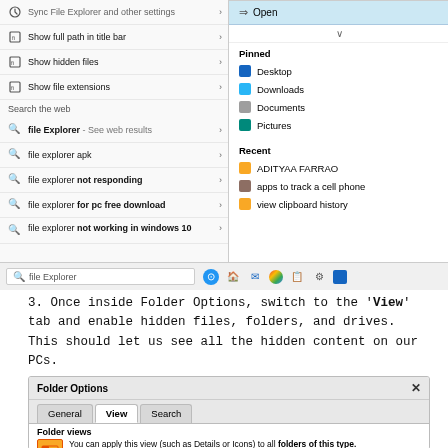[Figure (screenshot): Windows 10 Start menu search results for 'file Explorer' showing sync settings, show full path, show hidden files, show file extensions menu items, web search results, and File Explorer open on right side with Pinned (Desktop, Downloads, Documents, Pictures) and Recent (ADITYAA FARRAO, apps to track a cell phone, view clipboard history) sections, with taskbar at bottom]
3. Once inside Folder Options, switch to the 'View' tab and enable hidden files, folders, and drives. This should let us see all the hidden content on our PCs.
[Figure (screenshot): Folder Options dialog box showing General, View (active), Search tabs, with Folder views section containing a folder icon and text 'You can apply this view (such as Details or Icons) to all folders of this type.' with Apply to Folders and Reset Folders buttons]